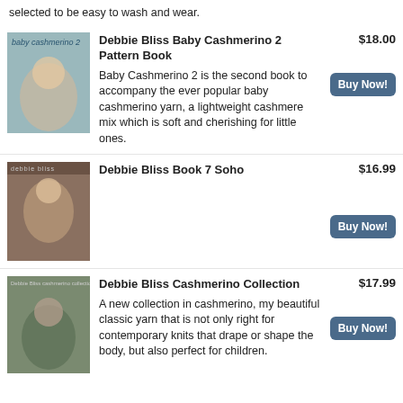selected to be easy to wash and wear.
[Figure (photo): Book cover: Debbie Bliss Baby Cashmerino 2, showing a baby sitting]
Debbie Bliss Baby Cashmerino 2 Pattern Book
Baby Cashmerino 2 is the second book to accompany the ever popular baby cashmerino yarn, a lightweight cashmere mix which is soft and cherishing for little ones.
$18.00
Buy Now!
[Figure (photo): Book cover: Debbie Bliss Book 7 Soho, showing a woman in a knit scarf]
Debbie Bliss Book 7 Soho
$16.99
Buy Now!
[Figure (photo): Book cover: Debbie Bliss Cashmerino Collection, showing a woman in a green jacket]
Debbie Bliss Cashmerino Collection
A new collection in cashmerino, my beautiful classic yarn that is not only right for contemporary knits that drape or shape the body, but also perfect for children.
$17.99
Buy Now!